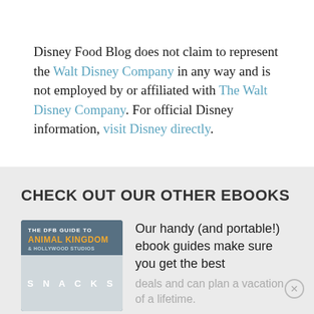Disney Food Blog does not claim to represent the Walt Disney Company in any way and is not employed by or affiliated with The Walt Disney Company. For official Disney information, visit Disney directly.
CHECK OUT OUR OTHER EBOOKS
[Figure (other): Book cover for The DFB Guide to Animal Kingdom & Hollywood Studios Snacks ebook, shown as a thumbnail image with orange and white text on a dark blue-grey background with a snacks label below.]
Our handy (and portable!) ebook guides make sure you get the best deals and can plan a vacation of a lifetime.